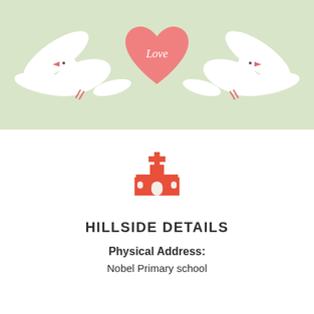[Figure (illustration): Two white doves facing each other holding a pink heart with the word 'Love' written in cursive, set against a light sage green background.]
[Figure (illustration): Orange/red flat icon of a church building with a cross on top.]
HILLSIDE DETAILS
Physical Address:
Nobel Primary school